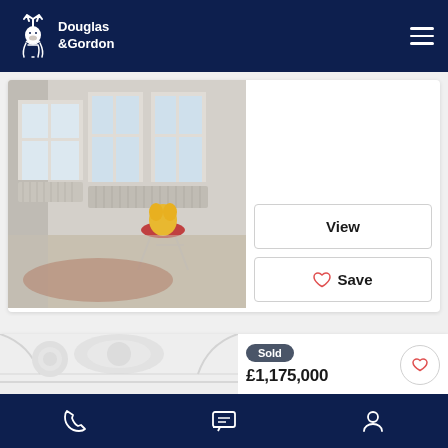[Figure (screenshot): Douglas & Gordon real estate mobile app screenshot showing property listings with navigation bars]
Douglas & Gordon
[Figure (photo): Interior room with beige carpet, white-framed windows, and a red stool with a yellow stuffed animal]
View
Save
[Figure (photo): Interior architectural photo showing ornate ceiling details in black and white]
Sold
£1,175,000
Phone | Chat | Account